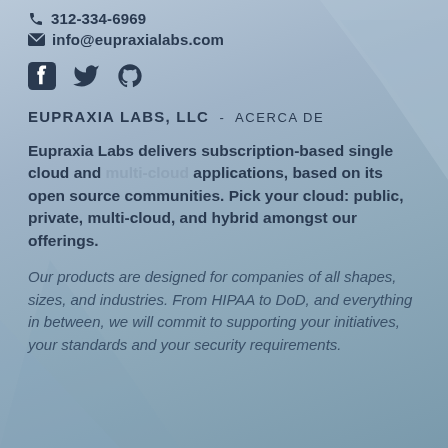312-334-6969
info@eupraxialabs.com
[Figure (other): Social media icons: Facebook, Twitter, GitHub]
EUPRAXIA LABS, LLC - ACERCA DE
Eupraxia Labs delivers subscription-based single cloud and multi-cloud applications, based on its open source communities. Pick your cloud: public, private, multi-cloud, and hybrid amongst our offerings.
Our products are designed for companies of all shapes, sizes, and industries. From HIPAA to DoD, and everything in between, we will commit to supporting your initiatives, your standards and your security requirements.